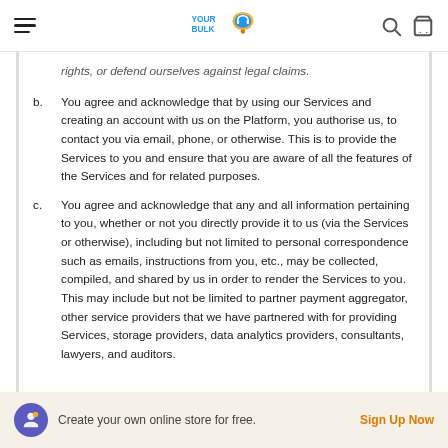YOUR BULK [logo]
rights, or defend ourselves against legal claims.
b. You agree and acknowledge that by using our Services and creating an account with us on the Platform, you authorise us, to contact you via email, phone, or otherwise. This is to provide the Services to you and ensure that you are aware of all the features of the Services and for related purposes.
c. You agree and acknowledge that any and all information pertaining to you, whether or not you directly provide it to us (via the Services or otherwise), including but not limited to personal correspondence such as emails, instructions from you, etc., may be collected, compiled, and shared by us in order to render the Services to you. This may include but not be limited to partner payment aggregator, other service providers that we have partnered with for providing Services, storage providers, data analytics providers, consultants, lawyers, and auditors.
Create your own online store for free. Sign Up Now